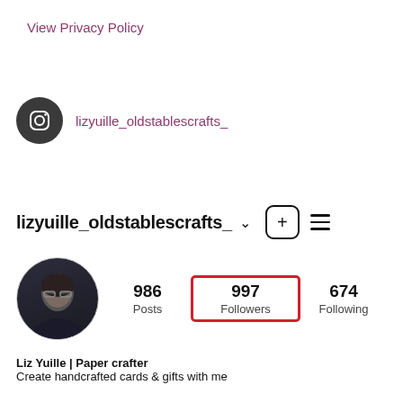View Privacy Policy
lizyuille_oldstablescrafts_
lizyuille_oldstablescrafts_
[Figure (screenshot): Instagram profile stats showing 986 Posts, 997 Followers (highlighted with red border), 674 Following, with circular avatar of a woman with short dark hair and glasses]
Liz Yuille | Paper crafter
Create handcrafted cards & gifts with me